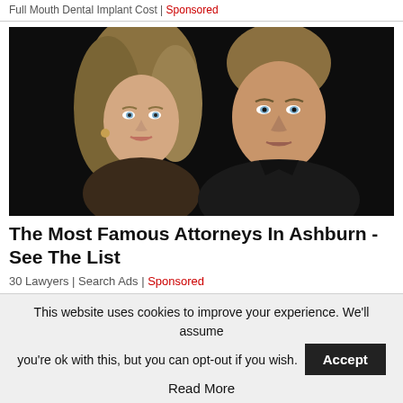Full Mouth Dental Implant Cost | Sponsored
[Figure (photo): Photo of a blonde woman and a man in a black shirt against a dark background]
The Most Famous Attorneys In Ashburn - See The List
30 Lawyers | Search Ads | Sponsored
This website uses cookies to improve your experience. We'll assume you're ok with this, but you can opt-out if you wish.  Accept  Read More